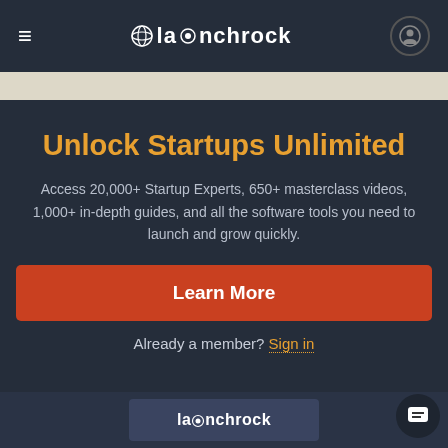launchrock
Unlock Startups Unlimited
Access 20,000+ Startup Experts, 650+ masterclass videos, 1,000+ in-depth guides, and all the software tools you need to launch and grow quickly.
Learn More
Already a member? Sign in
launchrock